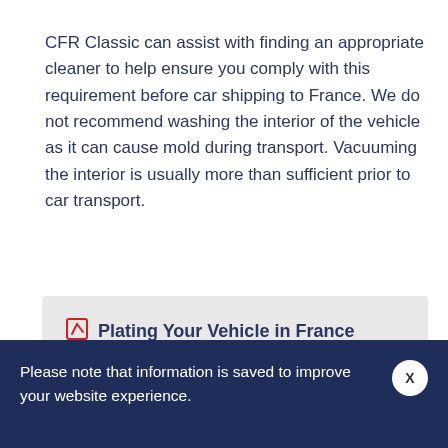CFR Classic can assist with finding an appropriate cleaner to help ensure you comply with this requirement before car shipping to France. We do not recommend washing the interior of the vehicle as it can cause mold during transport. Vacuuming the interior is usually more than sufficient prior to car transport.
Plating Your Vehicle in France
Please note that information is saved to improve your website experience.